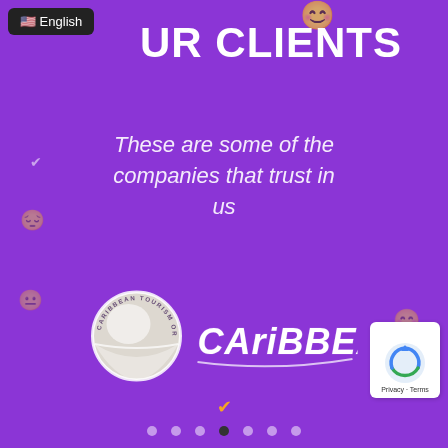🇺🇸 English
OUR CLIENTS
These are some of the companies that trust in us
[Figure (logo): Caribbean Tourism Organization circular logo with white globe/map design and 'CARIBBEAN TOURISM ORGANIZATION' text ring, alongside stylized 'CARiBBEAN' text wordmark in white]
[Figure (logo): Google reCAPTCHA privacy badge with blue/green shield icon and 'Privacy - Terms' text]